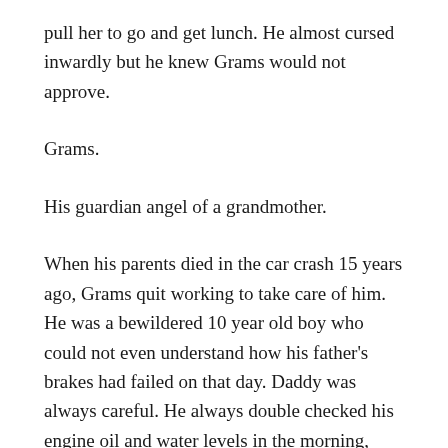pull her to go and get lunch. He almost cursed inwardly but he knew Grams would not approve.
Grams.
His guardian angel of a grandmother.
When his parents died in the car crash 15 years ago, Grams quit working to take care of him. He was a bewildered 10 year old boy who could not even understand how his father's brakes had failed on that day. Daddy was always careful. He always double checked his engine oil and water levels in the morning, always ensured that his tyres were clean, always made sure he had enough fuel for the day's journey. That was Daddy- Mr Careful. He even measured his food portions to make sure he did not overeat. Now he was gone- along with Mummy. Beautiful, graceful Mummy. He had always thought that she